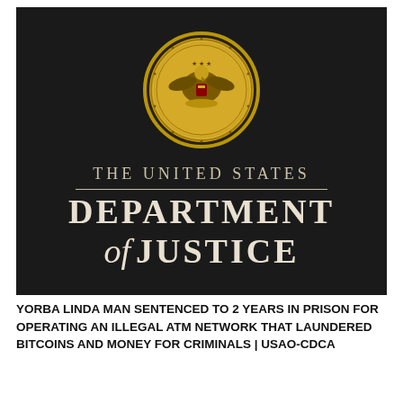[Figure (logo): United States Department of Justice official logo on dark background, featuring the DOJ seal (gold medallion with eagle) above the text 'THE UNITED STATES' and 'DEPARTMENT of JUSTICE' in serif lettering.]
YORBA LINDA MAN SENTENCED TO 2 YEARS IN PRISON FOR OPERATING AN ILLEGAL ATM NETWORK THAT LAUNDERED BITCOINS AND MONEY FOR CRIMINALS | USAO-CDCA